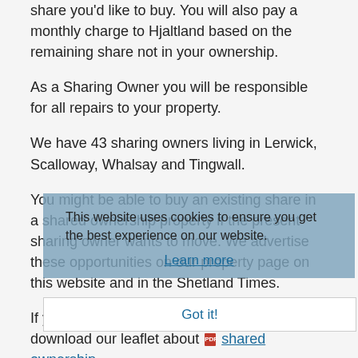share you'd like to buy. You will also pay a monthly charge to Hjaltland based on the remaining share not in your ownership.
As a Sharing Owner you will be responsible for all repairs to your property.
We have 43 sharing owners living in Lerwick, Scalloway, Whalsay and Tingwall.
You might be able to buy an existing share in a shared ownership property if the present sharing owner wants to move. We advertise these opportunities on our property page on this website and in the Shetland Times.
If you would like to know more, you can download our leaflet about [PDF icon] shared ownership.
The Privacy Notice for Sharing Owners and Shared Equity Owners can be found here on our website.
This website uses cookies to ensure you get the best experience on our website.
Learn more
Got it!